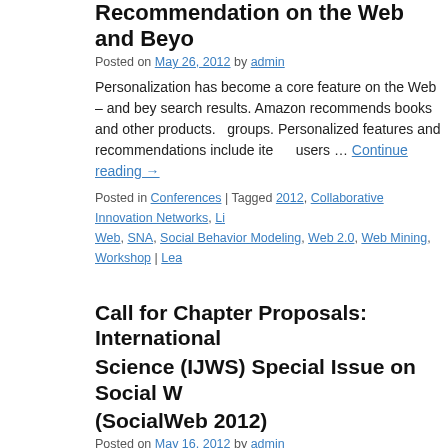Recommendation on the Web and Beyond
Posted on May 26, 2012 by admin
Personalization has become a core feature on the Web – and bey… search results. Amazon recommends books and other products. … groups. Personalized features and recommendations include ite… users … Continue reading →
Posted in Conferences | Tagged 2012, Collaborative Innovation Networks, Li… Web, SNA, Social Behavior Modeling, Web 2.0, Web Mining, Workshop | Lea…
Call for Chapter Proposals: International … Science (IJWS) Special Issue on Social W… (SocialWeb 2012)
Posted on May 16, 2012 by admin
International Journal of Web Science (IJWS) Special Issue on S… submission deadline: June 1st, 2012 http://www.inderscience.co… callID=1796 AIMS AND SCOPE Recent years have seen a flou… world, individuals can share news, … Continue reading →